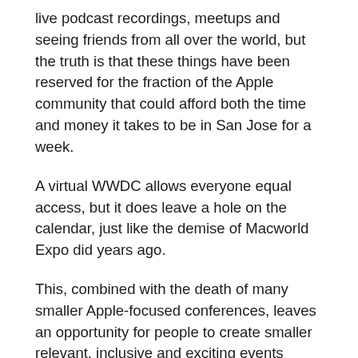live podcast recordings, meetups and seeing friends from all over the world, but the truth is that these things have been reserved for the fraction of the Apple community that could afford both the time and money it takes to be in San Jose for a week.
A virtual WWDC allows everyone equal access, but it does leave a hole on the calendar, just like the demise of Macworld Expo did years ago.
This, combined with the death of many smaller Apple-focused conferences, leaves an opportunity for people to create smaller relevant, inclusive and exciting events around the world for Apple nerds.
The conference business is notoriously difficult one, which is why I think a regional approach could be the way to go. If Apple was willing to do road shows, touring countries showing off products and connecting